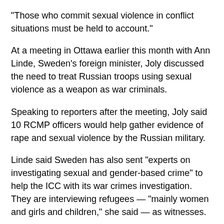"Those who commit sexual violence in conflict situations must be held to account."
At a meeting in Ottawa earlier this month with Ann Linde, Sweden's foreign minister, Joly discussed the need to treat Russian troops using sexual violence as a weapon as war criminals.
Speaking to reporters after the meeting, Joly said 10 RCMP officers would help gather evidence of rape and sexual violence by the Russian military.
Linde said Sweden has also sent "experts on investigating sexual and gender-based crime" to help the ICC with its war crimes investigation. They are interviewing refugees — "mainly women and girls and children," she said — as witnesses.
Ukraine's ambassador designate to Canada told members of Parliament earlier this month